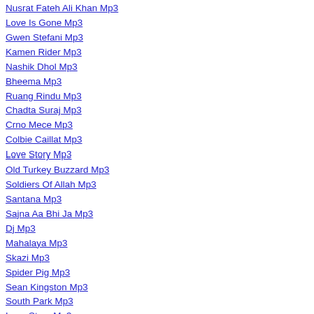Nusrat Fateh Ali Khan Mp3
Love Is Gone Mp3
Gwen Stefani Mp3
Kamen Rider Mp3
Nashik Dhol Mp3
Bheema Mp3
Ruang Rindu Mp3
Chadta Suraj Mp3
Crno Mece Mp3
Colbie Caillat Mp3
Love Story Mp3
Old Turkey Buzzard Mp3
Soldiers Of Allah Mp3
Santana Mp3
Sajna Aa Bhi Ja Mp3
Dj Mp3
Mahalaya Mp3
Skazi Mp3
Spider Pig Mp3
Sean Kingston Mp3
South Park Mp3
Love Story Mp3
Sean Paul Mp3
Disney Mp3
Shut Up And Drive Mp3